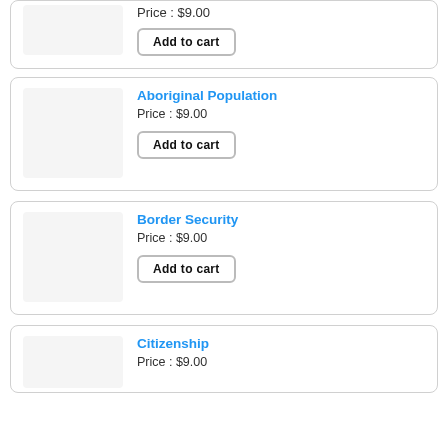Price : $9.00
Add to cart
Aboriginal Population
Price : $9.00
Add to cart
Border Security
Price : $9.00
Add to cart
Citizenship
Price : $9.00